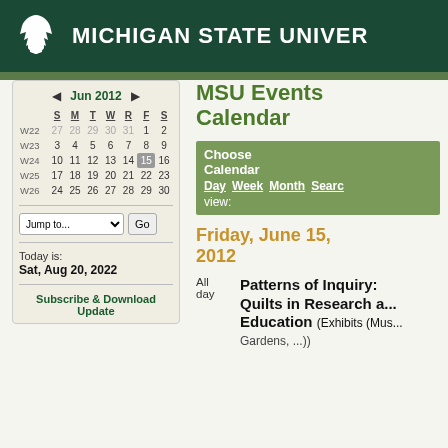MICHIGAN STATE UNIVERSITY
MSU Events Calendar
[Figure (other): Navigation bar with Choose Calendar view options: Day, Week, Month, Search]
Friday, June 15, 2012
All day  Patterns of Inquiry: Quilts in Research and Education (Exhibits (Museums, Gardens, ...))
Jun 2012 calendar with week numbers W22-W26
Today is: Sat, Aug 20, 2022
Subscribe & Download Update